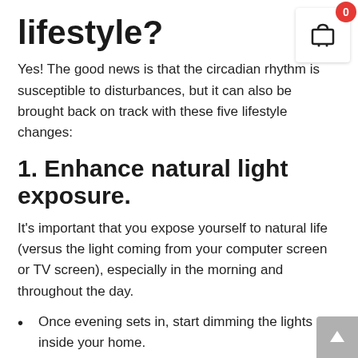lifestyle?
Yes! The good news is that the circadian rhythm is susceptible to disturbances, but it can also be brought back on track with these five lifestyle changes:
1. Enhance natural light exposure.
It's important that you expose yourself to natural life (versus the light coming from your computer screen or TV screen), especially in the morning and throughout the day.
Once evening sets in, start dimming the lights inside your home.
Make sure your bedroom is completely dark (no TV or LED screens) when you go to sleep.
If you travel a lot in different time zones, try using this app. It details when to expose yourself to light and